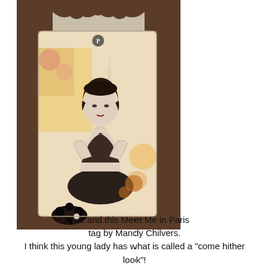[Figure (photo): A vintage-style decorative art tag (Meet Me in Paris tag) featuring a black-and-white photo of a 1920s-era young woman with dark bobbed hair, posing with arms crossed. The tag has a crown-like top with cutouts, a black button embellishment with the letter P, and decorative floral/lace embellishments at the bottom. The background of the tag shows colorful vintage floral paper collage elements in yellows, reds, and pinks. The tag sits on a dark brown background.]
...and this Meet Me in Paris tag by Mandy Chilvers. I think this young lady has what is called a "come hither look"!